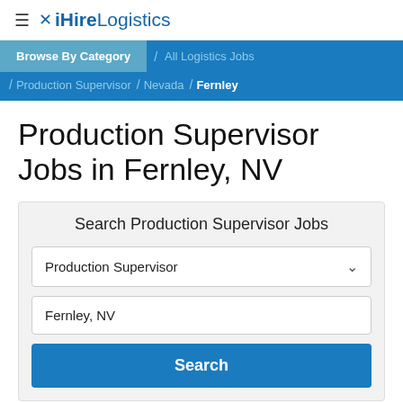iHireLogistics
Browse By Category / All Logistics Jobs / Production Supervisor / Nevada / Fernley
Production Supervisor Jobs in Fernley, NV
Search Production Supervisor Jobs
Production Supervisor
Fernley, NV
Search